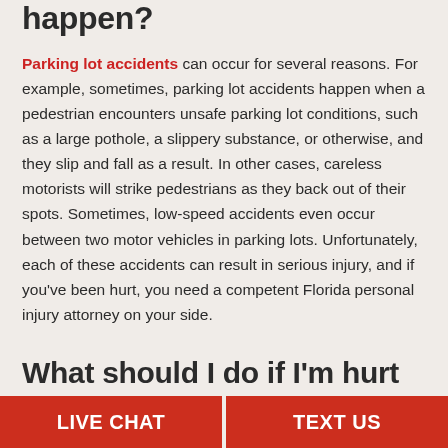happen?
Parking lot accidents can occur for several reasons. For example, sometimes, parking lot accidents happen when a pedestrian encounters unsafe parking lot conditions, such as a large pothole, a slippery substance, or otherwise, and they slip and fall as a result. In other cases, careless motorists will strike pedestrians as they back out of their spots. Sometimes, low-speed accidents even occur between two motor vehicles in parking lots. Unfortunately, each of these accidents can result in serious injury, and if you've been hurt, you need a competent Florida personal injury attorney on your side.
What should I do if I'm hurt in an accident?
LIVE CHAT   TEXT US